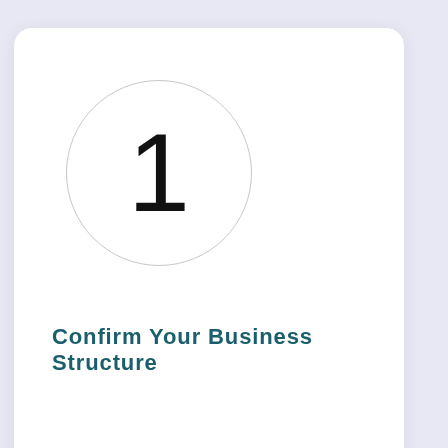[Figure (infographic): Card with circle containing number 1]
Confirm Your Business Structure
[Figure (infographic): Card with circle containing number 2 (partially visible)]